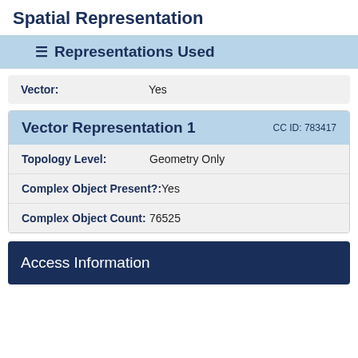Spatial Representation
Representations Used
| Field | Value |
| --- | --- |
| Vector: | Yes |
Vector Representation 1   CC ID: 783417
| Field | Value |
| --- | --- |
| Topology Level: | Geometry Only |
| Complex Object Present?: | Yes |
| Complex Object Count: | 76525 |
Access Information